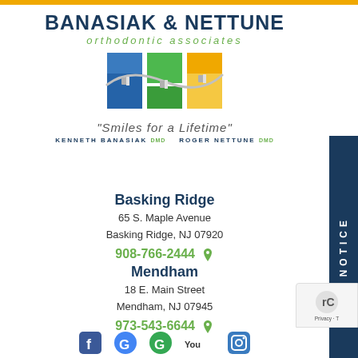[Figure (logo): Banasiak & Nettune Orthodontic Associates logo with colored squares (blue, green, yellow) and dental wire graphic, tagline 'Smiles for a Lifetime', doctors Kenneth Banasiak DMD and Roger Nettune DMD]
Basking Ridge
65 S. Maple Avenue
Basking Ridge, NJ 07920
908-766-2444
Mendham
18 E. Main Street
Mendham, NJ 07945
973-543-6644